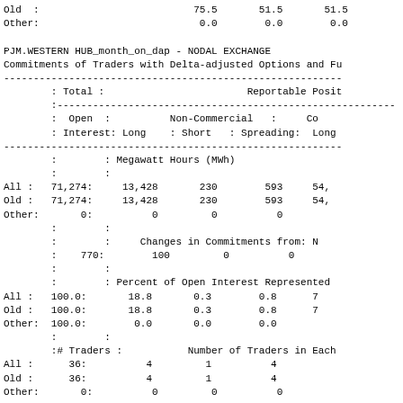Old :                          75.5       51.5       51.5
Other:                          0.0        0.0        0.0
PJM.WESTERN HUB_month_on_dap - NODAL EXCHANGE
Commitments of Traders with Delta-adjusted Options and Fu
|  | Total |  | Reportable Posit |
| --- | --- | --- | --- |
|  | Open | Non-Commercial | Co |
|  | Interest | Long : Short : Spreading: | Long |
|  |  | Megawatt Hours (MWh) |  |
| All | 71,274: | 13,428 | 230 | 593 | 54, |
| Old | 71,274: | 13,428 | 230 | 593 | 54, |
| Other: | 0: | 0 | 0 | 0 |  |
|  | 770: | 100 | 0 | 0 |  |
| All | 100.0: | 18.8 | 0.3 | 0.8 | 7 |
| Old | 100.0: | 18.8 | 0.3 | 0.8 | 7 |
| Other: | 100.0: | 0.0 | 0.0 | 0.0 |  |
| All | 36: | 4 | 1 | 4 |  |
| Old | 36: | 4 | 1 | 4 |  |
| Other: | 0: | 0 | 0 | 0 |  |
Percent of Open Interest Held by the